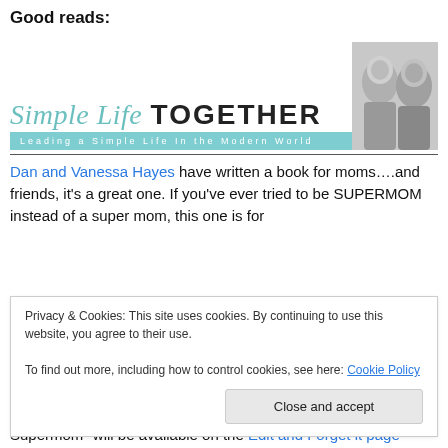Good reads:
[Figure (logo): Simple Life TOGETHER blog logo with tagline 'Leading a Simple Life In the Modern World' and grayscale photos of Dan and Vanessa Hayes]
Dan and Vanessa Hayes have written a book for moms….and friends, it's a great one. If you've ever tried to be SUPERMOM instead of a super mom, this one is for
Privacy & Cookies: This site uses cookies. By continuing to use this website, you agree to their use.
To find out more, including how to control cookies, see here: Cookie Policy
[Close and accept button]
Supermom" will be available on the Edit and Forget it page